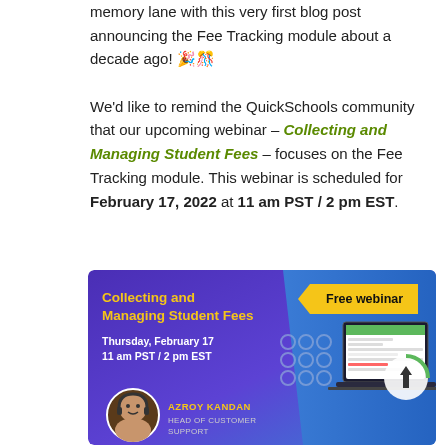memory lane with this very first blog post announcing the Fee Tracking module about a decade ago! 🎉🎊

We'd like to remind the QuickSchools community that our upcoming webinar – Collecting and Managing Student Fees – focuses on the Fee Tracking module. This webinar is scheduled for February 17, 2022 at 11 am PST / 2 pm EST.
[Figure (infographic): Webinar promotional banner with purple/blue gradient background. Title 'Collecting and Managing Student Fees' in yellow bold text. Yellow arrow badge on right reading 'Free webinar'. Date info: Thursday, February 17, 11 am PST / 2 pm EST. Presenter: Azroy Kandan, Head of Customer Support. Decorative circles and laptop screenshot on right side.]